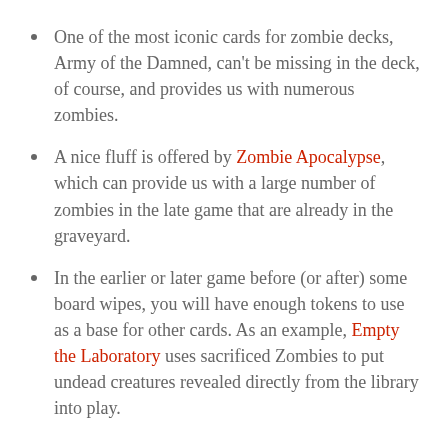One of the most iconic cards for zombie decks, Army of the Damned, can't be missing in the deck, of course, and provides us with numerous zombies.
A nice fluff is offered by Zombie Apocalypse, which can provide us with a large number of zombies in the late game that are already in the graveyard.
In the earlier or later game before (or after) some board wipes, you will have enough tokens to use as a base for other cards. As an example, Empty the Laboratory uses sacrificed Zombies to put undead creatures revealed directly from the library into play.